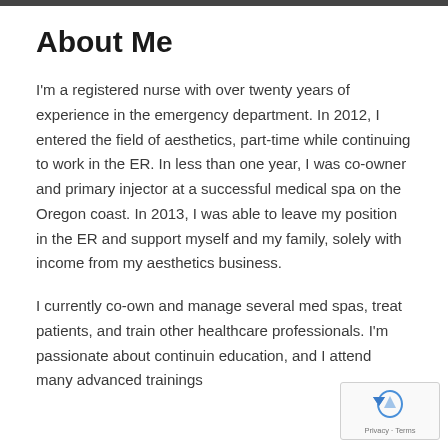About Me
I'm a registered nurse with over twenty years of experience in the emergency department. In 2012, I entered the field of aesthetics, part-time while continuing to work in the ER. In less than one year, I was co-owner and primary injector at a successful medical spa on the Oregon coast. In 2013, I was able to leave my position in the ER and support myself and my family, solely with income from my aesthetics business.
I currently co-own and manage several med spas, treat patients, and train other healthcare professionals. I'm passionate about continuing education, and I attend many advanced trainings